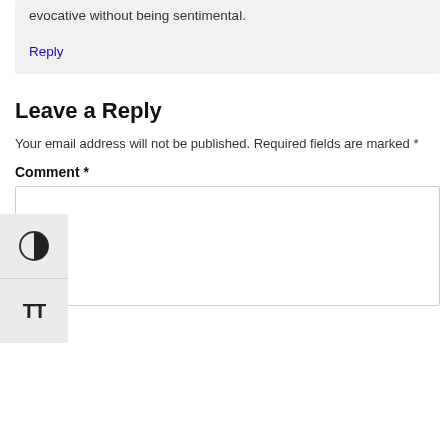evocative without being sentimental.
Reply
Leave a Reply
Your email address will not be published. Required fields are marked *
Comment *